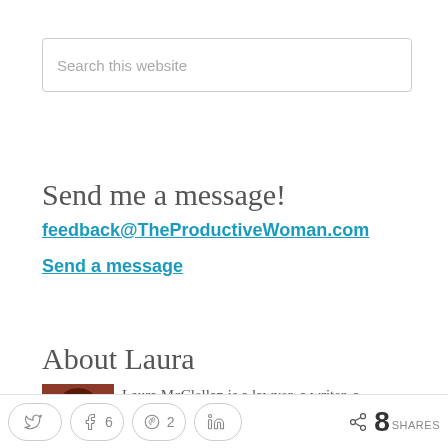Search this website
Send me a message!
feedback@TheProductiveWoman.com
Send a message
About Laura
Laura McClellan is a lawyer, a writer, a
8 SHARES